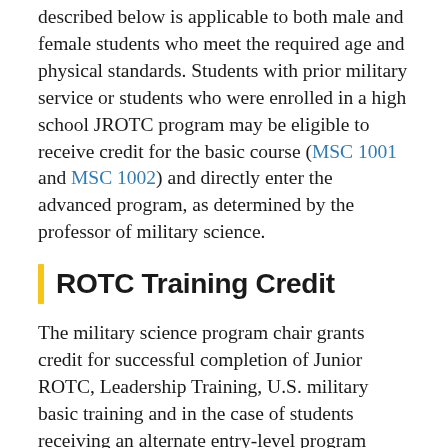described below is applicable to both male and female students who meet the required age and physical standards. Students with prior military service or students who were enrolled in a high school JROTC program may be eligible to receive credit for the basic course (MSC 1001 and MSC 1002) and directly enter the advanced program, as determined by the professor of military science.
ROTC Training Credit
The military science program chair grants credit for successful completion of Junior ROTC, Leadership Training, U.S. military basic training and in the case of students receiving an alternate entry-level program waiver from the professor of military science. Interested